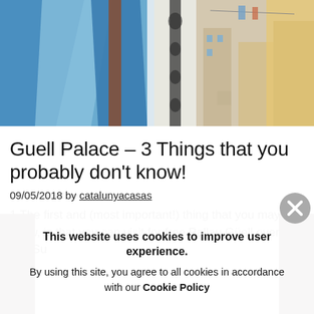[Figure (photo): Colorful outdoor scene with decorative fabric/flags and a street view with buildings]
Guell Palace – 3 Things that you probably don't know!
09/05/2018 by catalunyacasas
1.The first and (most important!) thing that you may not know, is that you can visit for free Pallau Güell every first Su
This website uses cookies to improve user experience.
By using this site, you agree to all cookies in accordance with our Cookie Policy